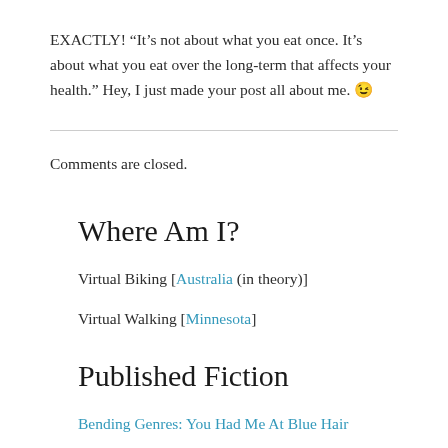EXACTLY! “It’s not about what you eat once. It’s about what you eat over the long-term that affects your health.” Hey, I just made your post all about me. 😉
Comments are closed.
Where Am I?
Virtual Biking [Australia (in theory)]
Virtual Walking [Minnesota]
Published Fiction
Bending Genres: You Had Me At Blue Hair